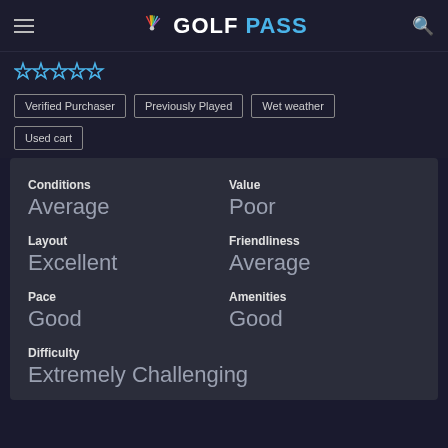GOLFPASS
[Figure (logo): NBC GolfPass logo with peacock icon]
Verified Purchaser
Previously Played
Wet weather
Used cart
| Category | Rating |
| --- | --- |
| Conditions | Average |
| Value | Poor |
| Layout | Excellent |
| Friendliness | Average |
| Pace | Good |
| Amenities | Good |
| Difficulty | Extremely Challenging |